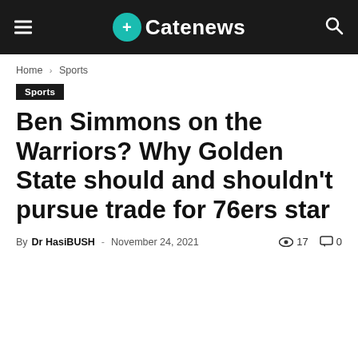+Catenews
Home › Sports
Sports
Ben Simmons on the Warriors? Why Golden State should and shouldn't pursue trade for 76ers star
By Dr HasiBUSH - November 24, 2021   17   0